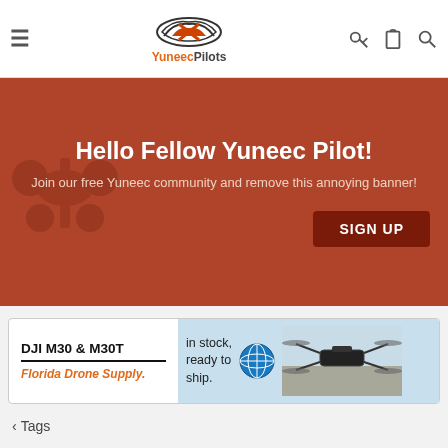[Figure (screenshot): YuneecPilots website navigation bar with hamburger menu, logo with wing icon, and right-side icons for key, clipboard, and search]
[Figure (infographic): Dark orange/brown promotional banner with text 'Hello Fellow Yuneec Pilot! Join our free Yuneec community and remove this annoying banner!' with a SIGN UP button and faint drone silhouette on the left]
[Figure (infographic): Advertisement for DJI M30 & M30T by Florida Drone Supply, showing 'in stock, ready to ship.' text, a globe logo, and a photo of the DJI M30 drone]
< Tags
no fly zone